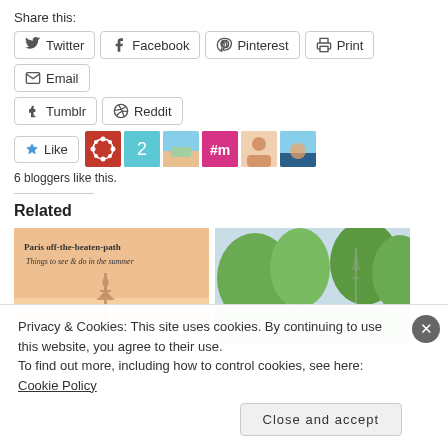Share this:
[Figure (screenshot): Row of social share buttons: Twitter, Facebook, Pinterest, Print, Email]
[Figure (screenshot): Second row of social share buttons: Tumblr, Reddit]
[Figure (screenshot): Like button with star icon, followed by 6 blogger avatars]
6 bloggers like this.
Related
[Figure (photo): Paris off-the-beaten-path Things to see & do in the summer - image of Eiffel Tower with warm tones]
[Figure (photo): Trees and Eiffel Tower viewed through greenery]
Privacy & Cookies: This site uses cookies. By continuing to use this website, you agree to their use.
To find out more, including how to control cookies, see here: Cookie Policy
Close and accept